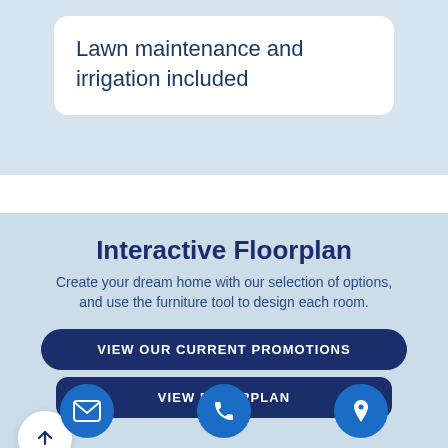Lawn maintenance and irrigation included
Interactive Floorplan
Create your dream home with our selection of options, and use the furniture tool to design each room.
VIEW OUR CURRENT PROMOTIONS
VIEW FLOORPLAN
[Figure (illustration): Three circular icons at the bottom: envelope (email), phone, and map pin (location)]